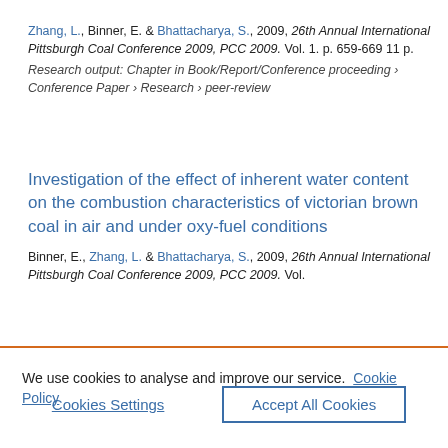Zhang, L., Binner, E. & Bhattacharya, S., 2009, 26th Annual International Pittsburgh Coal Conference 2009, PCC 2009. Vol. 1. p. 659-669 11 p.
Research output: Chapter in Book/Report/Conference proceeding › Conference Paper › Research › peer-review
Investigation of the effect of inherent water content on the combustion characteristics of victorian brown coal in air and under oxy-fuel conditions
Binner, E., Zhang, L. & Bhattacharya, S., 2009, 26th Annual International Pittsburgh Coal Conference 2009, PCC 2009. Vol.
We use cookies to analyse and improve our service. Cookie Policy
Cookies Settings
Accept All Cookies